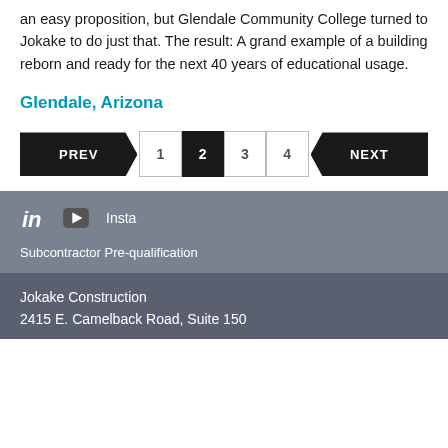an easy proposition, but Glendale Community College turned to Jokake to do just that. The result: A grand example of a building reborn and ready for the next 40 years of educational usage.
Glendale, Arizona
PREV 1 2 3 4 NEXT
in [YouTube icon] Insta
Subcontractor Pre-qualification
Jokake Construction
2415 E. Camelback Road, Suite 150